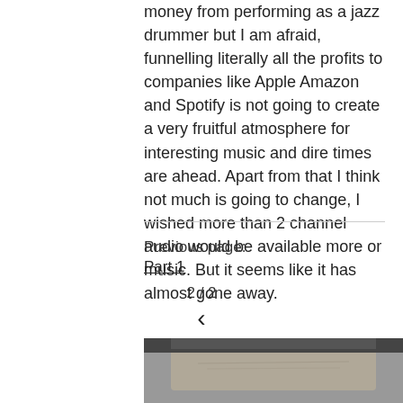money from performing as a jazz drummer but I am afraid, funnelling literally all the profits to companies like Apple Amazon and Spotify is not going to create a very fruitful atmosphere for interesting music and dire times are ahead. Apart from that I think not much is going to change, I wished more than 2 channel audio would be available more or music. But it seems like it has almost gone away.
Previous page:
Part 1
2 / 2
[Figure (photo): Black and white close-up portrait photo of a man's face, showing forehead and upper face with short hair]